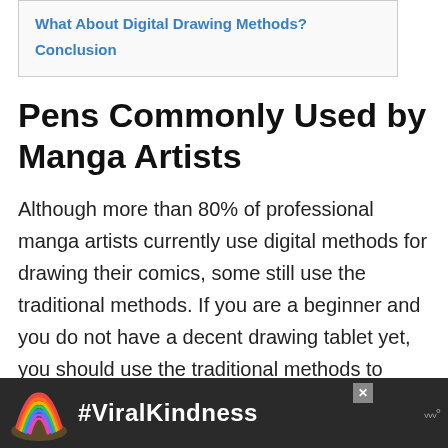What About Digital Drawing Methods?
Conclusion
Pens Commonly Used by Manga Artists
Although more than 80% of professional manga artists currently use digital methods for drawing their comics, some still use the traditional methods. If you are a beginner and you do not have a decent drawing tablet yet, you should use the traditional methods to practice first.
[Figure (other): Advertisement banner with rainbow illustration and #ViralKindness hashtag text on dark background]